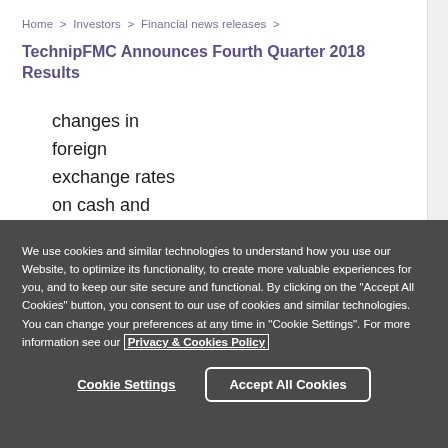Home > Investors > Financial news releases >
TechnipFMC Announces Fourth Quarter 2018 Results
changes in
foreign
exchange rates
on cash and
cash
We use cookies and similar technologies to understand how you use our Website, to optimize its functionality, to create more valuable experiences for you, and to keep our site secure and functional. By clicking on the "Accept All Cookies" button, you consent to our use of cookies and similar technologies. You can change your preferences at any time in "Cookie Settings". For more information see our Privacy & Cookies Policy